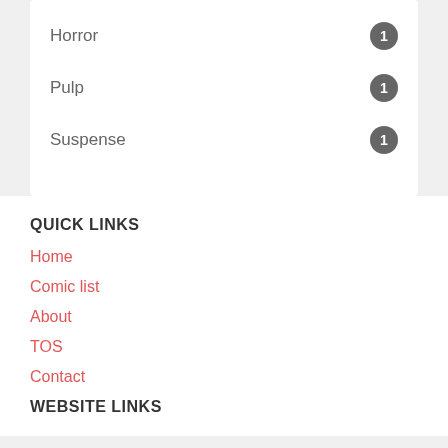Horror 1
Pulp 1
Suspense 1
QUICK LINKS
Home
Comic list
About
TOS
Contact
WEBSITE LINKS